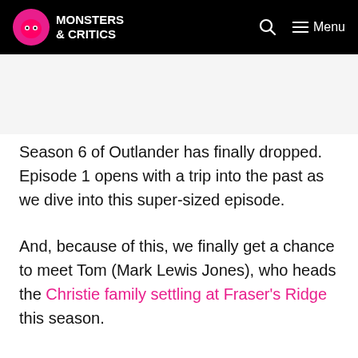Monsters & Critics — Menu
Season 6 of Outlander has finally dropped. Episode 1 opens with a trip into the past as we dive into this super-sized episode.
And, because of this, we finally get a chance to meet Tom (Mark Lewis Jones), who heads the Christie family settling at Fraser's Ridge this season.
Fans have been anticipating this throughout the